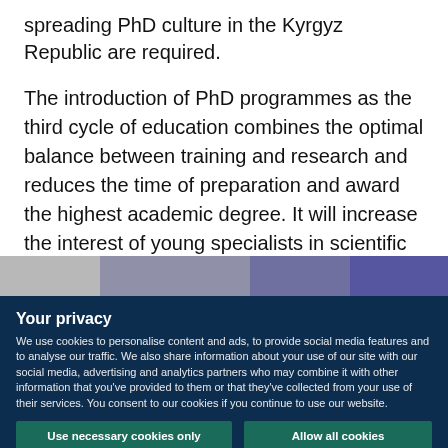spreading PhD culture in the Kyrgyz Republic are required.
The introduction of PhD programmes as the third cycle of education combines the optimal balance between training and research and reduces the time of preparation and award the highest academic degree. It will increase the interest of young specialists in scientific work.
[Figure (photo): Partial view of a photograph, cropped at the bottom of the visible page area.]
Your privacy
We use cookies to personalise content and ads, to provide social media features and to analyse our traffic. We also share information about your use of our site with our social media, advertising and analytics partners who may combine it with other information that you've provided to them or that they've collected from your use of their services. You consent to our cookies if you continue to use our website.
Use necessary cookies only
Allow all cookies
Show details